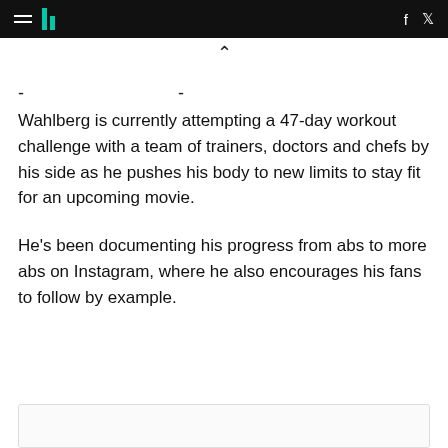≡ || f 𝕏
Wahlberg is currently attempting a 47-day workout challenge with a team of trainers, doctors and chefs by his side as he pushes his body to new limits to stay fit for an upcoming movie.
He's been documenting his progress from abs to more abs on Instagram, where he also encourages his fans to follow by example.
[Figure (other): Partial image box at the bottom of the page]